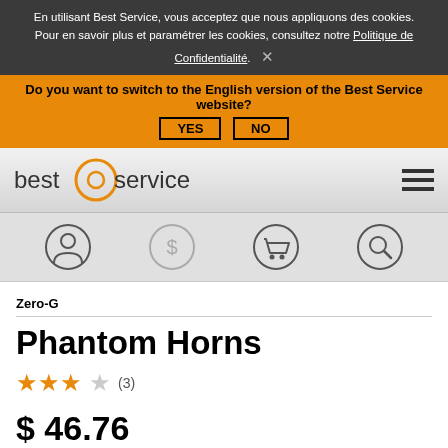En utilisant Best Service, vous acceptez que nous appliquons des cookies. Pour en savoir plus et paramétrer les cookies, consultez notre Politique de Confidentialité. ×
Do you want to switch to the English version of the Best Service website? YES  NO
[Figure (logo): Best Service logo with orange circular icon and text 'bestservice' plus hamburger menu icon]
[Figure (infographic): Four circular icons: user/account, dollar/price, shopping cart, and search/magnifying glass]
Zero-G
Phantom Horns
★★★☆ (3)
$ 46.76
🔊 ÉCOUTER